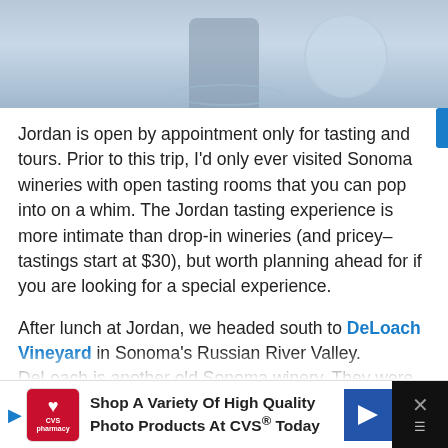[Figure (photo): Top portion of photo showing wine glasses and a bottle on a blue background, partially cropped]
Jordan is open by appointment only for tasting and tours. Prior to this trip, I'd only ever visited Sonoma wineries with open tasting rooms that you can pop into on a whim. The Jordan tasting experience is more intimate than drop-in wineries (and pricey–tastings start at $30), but worth planning ahead for if you are looking for a special experience.
After lunch at Jordan, we headed south to DeLoach Vineyard in Sonoma's Russian River Valley. DeLoach is another old Sonoma winery. They were one of the first Pino Noir growers in the area when they planted their first vines in 1973. I was really excited about this stop because Peter had
[Figure (other): CVS Pharmacy advertisement banner: Shop A Variety Of High Quality Photo Products At CVS® Today]